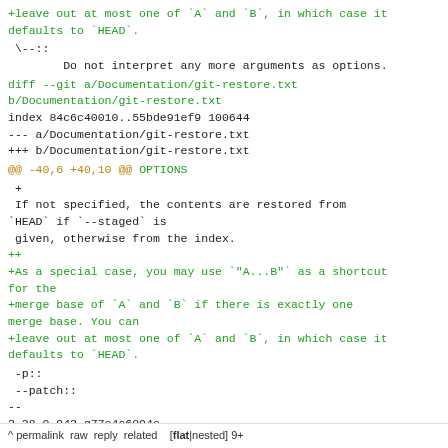+leave out at most one of `A` and `B`, in which case it defaults to `HEAD`.
\--::
        Do not interpret any more arguments as options.
diff --git a/Documentation/git-restore.txt b/Documentation/git-restore.txt
index 84c6c40010..55bde91ef9 100644
--- a/Documentation/git-restore.txt
+++ b/Documentation/git-restore.txt
@@ -40,6 +40,10 @@ OPTIONS
+
 If not specified, the contents are restored from
`HEAD` if `--staged` is
 given, otherwise from the index.
++
+As a special case, you may use `"A...B"` as a shortcut for the
+merge base of `A` and `B` if there is exactly one merge base. You can
+leave out at most one of `A` and `B`, in which case it defaults to `HEAD`.
-p::
 --patch::
--
2.28.0.942.g77c4c6094c
^ permalink raw reply related  [flat|nested] 9+